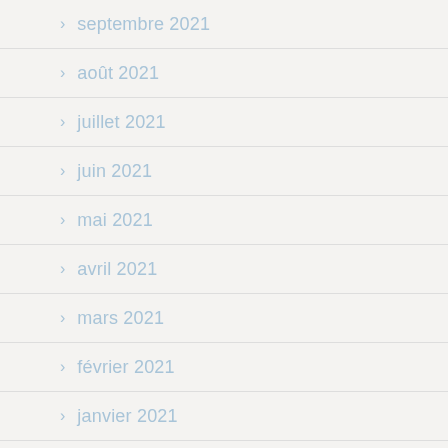> septembre 2021
> août 2021
> juillet 2021
> juin 2021
> mai 2021
> avril 2021
> mars 2021
> février 2021
> janvier 2021